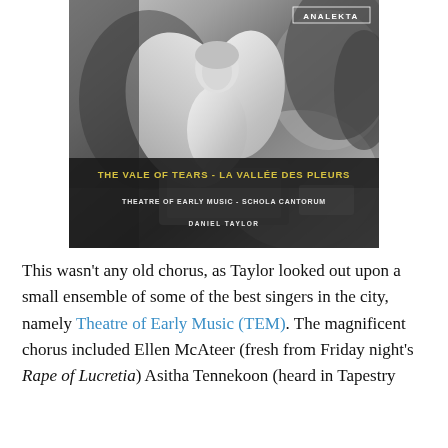[Figure (photo): Album cover for 'The Vale of Tears - La Vallée des Pleurs' by Theatre of Early Music - Schola Cantorum, Daniel Taylor. Black and white photograph of an angel statue. Analekta label logo in top right corner. Title in gold text on dark band near bottom.]
This wasn't any old chorus, as Taylor looked out upon a small ensemble of some of the best singers in the city, namely Theatre of Early Music (TEM). The magnificent chorus included Ellen McAteer (fresh from Friday night's Rape of Lucretia) Asitha Tennekoon (heard in Tapestry